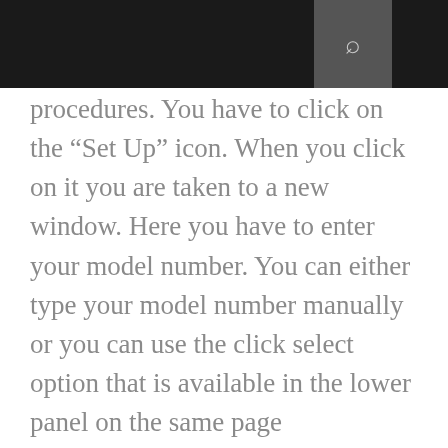procedures. You have to click on the “Set Up” icon. When you click on it you are taken to a new window. Here you have to enter your model number. You can either type your model number manually or you can use the click select option that is available in the lower panel on the same page ij.start.cannon This is the official website of Canon and a secure platform from where you can simply download the Canon Printer